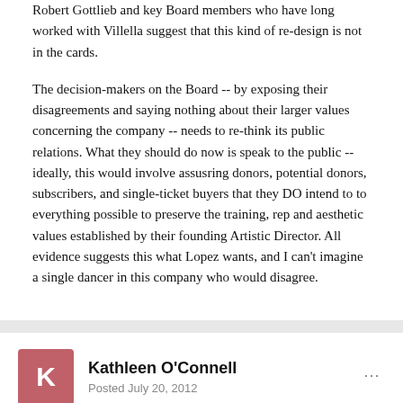Robert Gottlieb and key Board members who have long worked with Villella suggest that this kind of re-design is not in the cards.
The decision-makers on the Board -- by exposing their disagreements and saying nothing about their larger values concerning the company -- needs to re-think its public relations. What they should do now is speak to the public -- ideally, this would involve assusring donors, potential donors, subscribers, and single-ticket buyers that they DO intend to to everything possible to preserve the training, rep and aesthetic values established by their founding Artistic Director. All evidence suggests this what Lopez wants, and I can't imagine a single dancer in this company who would disagree.
Kathleen O'Connell
Posted July 20, 2012
On 7/19/2012 at 10:08 PM, Quiggin said: